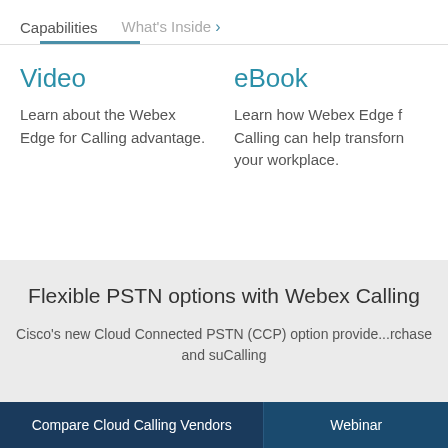Capabilities   What's Inside >
Video
Learn about the Webex Edge for Calling advantage.
eBook
Learn how Webex Edge for Calling can help transform your workplace.
Flexible PSTN options with Webex Calling
Cisco's new Cloud Connected PSTN (CCP) option provides... purchase and su... Calling
Compare Cloud Calling Vendors   Webinar